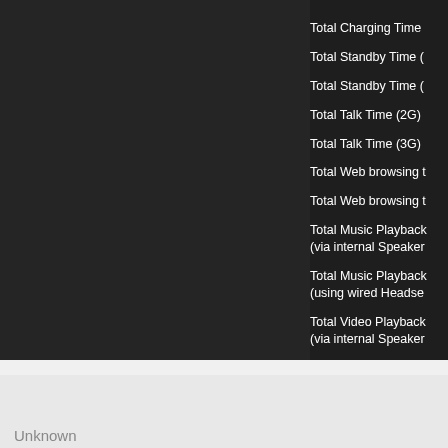Total Charging Time
Total Standby Time (
Total Standby Time (
Total Talk Time (2G)
Total Talk Time (3G)
Total Web browsing t
Total Web browsing t
Total Music Playback (via internal Speaker
Total Music Playback (using wired Headse
Total Video Playback (via internal Speaker
Total Video Playback (using wired Headse
Unknown